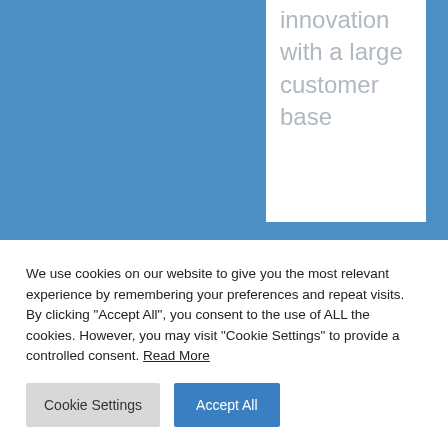[Figure (other): Blue background section with a white card overlay showing large light grey text: 'innovation with a large customer base']
We use cookies on our website to give you the most relevant experience by remembering your preferences and repeat visits. By clicking "Accept All", you consent to the use of ALL the cookies. However, you may visit "Cookie Settings" to provide a controlled consent. Read More
Cookie Settings | Accept All